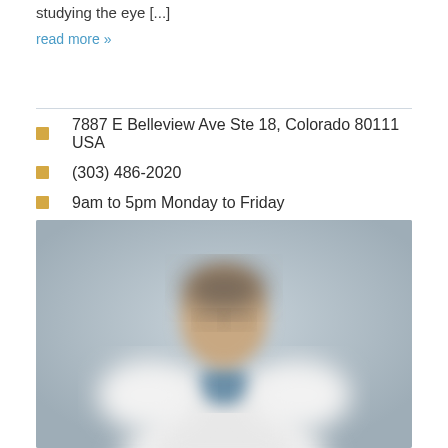studying the eye [...]
read more »
7887 E Belleview Ave Ste 18, Colorado 80111 USA
(303) 486-2020
9am to 5pm Monday to Friday
[Figure (photo): Blurred photo of a doctor in a white coat against a light grey background]